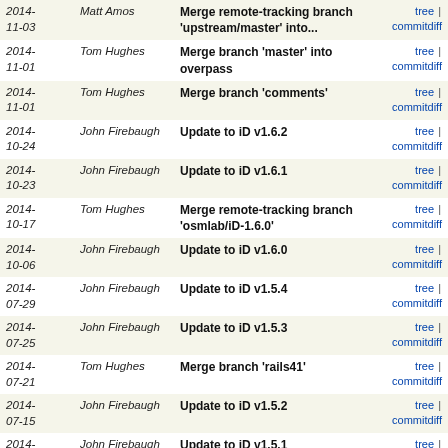| Date | Author | Message | Links |
| --- | --- | --- | --- |
| 2014-11-03 | Matt Amos | Merge remote-tracking branch 'upstream/master' into... | tree | commitdiff |
| 2014-11-01 | Tom Hughes | Merge branch 'master' into overpass | tree | commitdiff |
| 2014-11-01 | Tom Hughes | Merge branch 'comments' | tree | commitdiff |
| 2014-10-24 | John Firebaugh | Update to iD v1.6.2 | tree | commitdiff |
| 2014-10-23 | John Firebaugh | Update to iD v1.6.1 | tree | commitdiff |
| 2014-10-17 | Tom Hughes | Merge remote-tracking branch 'osmlab/iD-1.6.0' | tree | commitdiff |
| 2014-10-06 | John Firebaugh | Update to iD v1.6.0 | tree | commitdiff |
| 2014-07-29 | John Firebaugh | Update to iD v1.5.4 | tree | commitdiff |
| 2014-07-25 | John Firebaugh | Update to iD v1.5.3 | tree | commitdiff |
| 2014-07-21 | Tom Hughes | Merge branch 'rails41' | tree | commitdiff |
| 2014-07-15 | John Firebaugh | Update to iD v1.5.2 | tree | commitdiff |
| 2014-07-10 | John Firebaugh | Update to iD v1.5.1 | tree | commitdiff |
| 2014-07-09 | Aaron Lidman | Update to iD v1.5.0 | tree | commitdiff |
| 2014-... | Tom... | Merge branch... | tree | commitdiff |